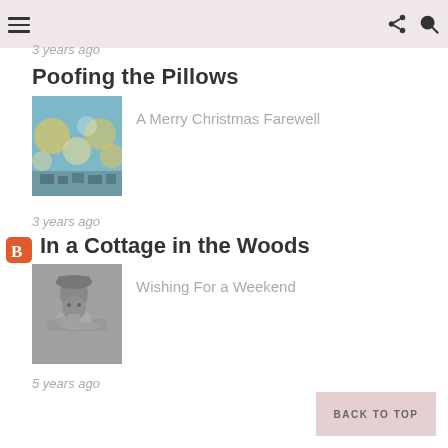3 years ago
Poofing the Pillows
A Merry Christmas Farewell
[Figure (photo): Blurry bokeh Christmas lights image]
3 years ago
In a Cottage in the Woods
Wishing For a Weekend
[Figure (photo): Black and white photo of a woman resting her head on a surface]
5 years ago
BACK TO TOP